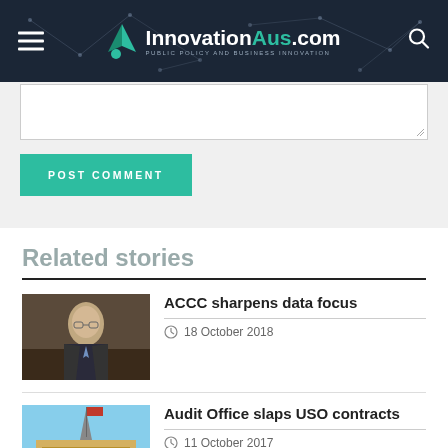InnovationAus.com — PUBLIC POLICY AND BUSINESS INNOVATION
POST COMMENT
Related stories
[Figure (photo): Headshot of a man in a dark suit and tie]
ACCC sharpens data focus
18 October 2018
[Figure (photo): Australian Parliament House building]
Audit Office slaps USO contracts